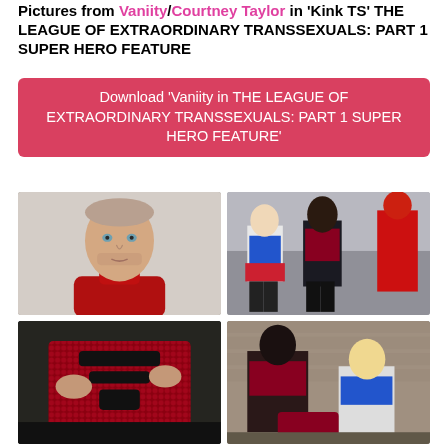Pictures from Vaniity/Courtney Taylor in 'Kink TS' THE LEAGUE OF EXTRAORDINARY TRANSSEXUALS: PART 1 SUPER HERO FEATURE
Download 'Vaniity in THE LEAGUE OF EXTRAORDINARY TRANSSEXUALS: PART 1 SUPER HERO FEATURE'
[Figure (photo): Close-up portrait of a man with short hair and stubble wearing a red latex/vinyl high-collar outfit, looking directly at camera with a serious expression]
[Figure (photo): Three people in superhero/villain costumes: one in white bodysuit with blue corset and red skirt, one in dark red corset and black tights, one in red latex suit, posing together]
[Figure (photo): Close-up of hands and lower body in dark/red sequined costume with black accessories, dark industrial background]
[Figure (photo): Two people in superhero costumes (dark red corset and blue corset) in an industrial brick-wall setting, one bending forward]